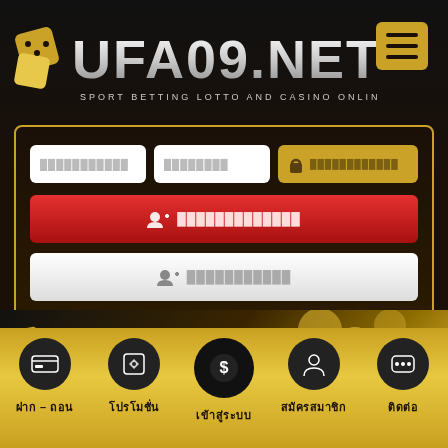[Figure (logo): UFA09.NET logo with gold dice icons and subtitle SPORT BETTING LOTTO AND CASINO ONLINE on dark background]
[Figure (screenshot): Login form with username field, password field, lock/login button, red register button, and white register button]
[Figure (logo): UFA09 small logo in banner area with golden coins background]
[Figure (infographic): Gold footer navigation bar with 5 items: ฝาก-ถอน (deposit-withdraw), โปรโมชั่น (promotion), เข้าสู่ระบบ (login), สมัครสมาชิก (register), ติดต่อ (contact)]